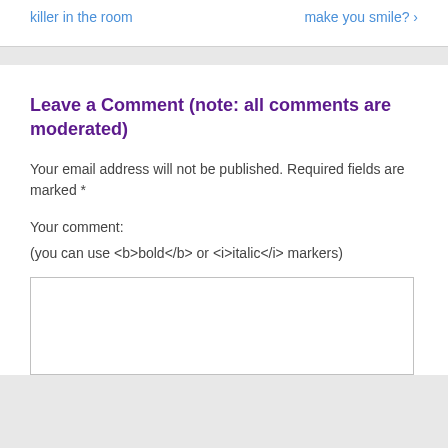killer in the room
make you smile? ›
Leave a Comment (note: all comments are moderated)
Your email address will not be published. Required fields are marked *
Your comment:
(you can use <b>bold</b> or <i>italic</i> markers)